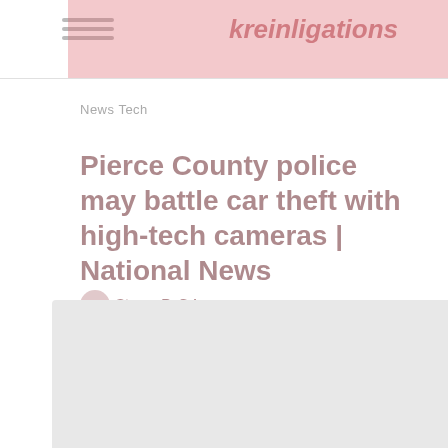kreinligations
News Tech
Pierce County police may battle car theft with high-tech cameras | National News
Stacee R. Grigg   ⊙ 2 months ago
[The Center Square] – With the increasing range number vehicle thefts in Pierce County, the Sheriff's Section may well search for substantial-tech cameras. The Puget Sound Vehicle Theft Process Pressure reported that about 43 vehicles were stolen in Pierce County for the duration of the Fourth of July weekends […]
[Figure (photo): Bottom image placeholder / thumbnail photo area]